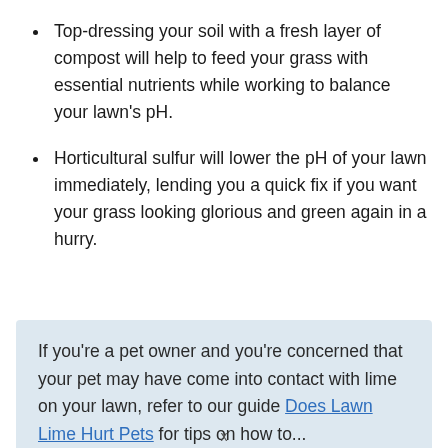Top-dressing your soil with a fresh layer of compost will help to feed your grass with essential nutrients while working to balance your lawn's pH.
Horticultural sulfur will lower the pH of your lawn immediately, lending you a quick fix if you want your grass looking glorious and green again in a hurry.
If you're a pet owner and you're concerned that your pet may have come into contact with lime on your lawn, refer to our guide Does Lawn Lime Hurt Pets for tips on how to...